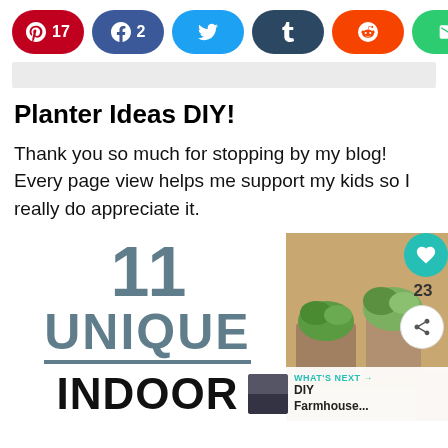[Figure (infographic): Social share buttons row: Pinterest (17), Facebook (2), Twitter, Tumblr, Reddit, Email, More]
Planter Ideas DIY!
Thank you so much for stopping by my blog! Every page view helps me support my kids so I really do appreciate it.
[Figure (infographic): 11 Unique Indoor (planter ideas) text graphic with photo of succulents in concrete pots, heart/share overlay and What's Next panel for DIY Farmhouse...]